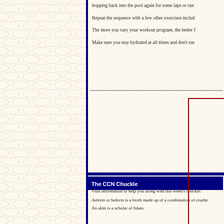hopping back into the pool again for some laps or run
Repeat the sequence with a few other exercises includ
The more you vary your workout program, the better f
Make sure you stay hydrated at all times and don't rus
Need an answer to a fitness related
All questions sent in are published
The CCN Chuckle
Vital information to help you along with this week's chuckle:
Aaleem or haleem is a broth made up of a combination of crushe
An alim is a scholar of Islam.